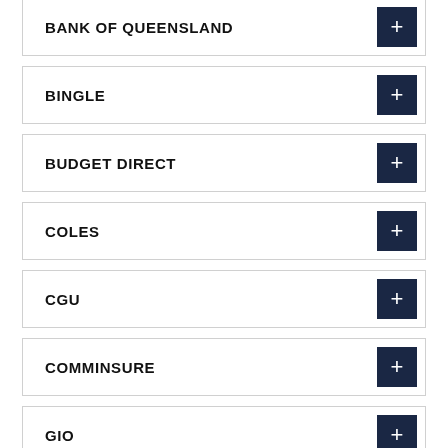BANK OF QUEENSLAND
BINGLE
BUDGET DIRECT
COLES
CGU
COMMINSURE
GIO
NAB